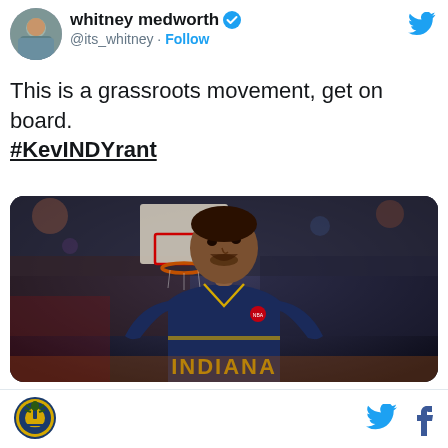[Figure (photo): Twitter/X profile avatar of whitney medworth - small circular profile photo]
whitney medworth ✓ @its_whitney · Follow
This is a grassroots movement, get on board. #KevINDYrant
[Figure (photo): Basketball player wearing Indiana Pacers navy and gold jersey looking upward, with a basketball hoop visible in the blurred background]
[Figure (logo): Circular logo - appears to be a sports or media organization logo in gold/navy]
[Figure (logo): Twitter bird icon and Facebook f icon in footer]